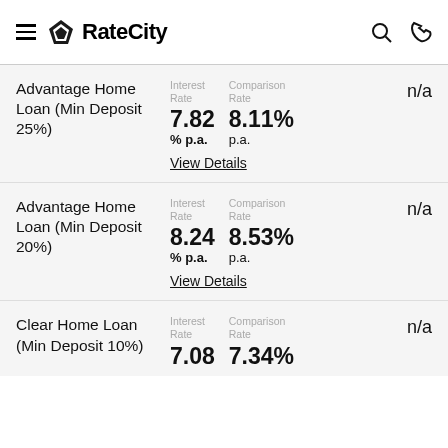RateCity
Advantage Home Loan (Min Deposit 25%) — Interest Rate: 7.82% p.a. — Comparison Rate: 8.11% p.a. — n/a
View Details
Advantage Home Loan (Min Deposit 20%) — Interest Rate: 8.24% p.a. — Comparison Rate: 8.53% p.a. — n/a
View Details
Clear Home Loan (Min Deposit 10%) — Interest Rate: 7.08 — Comparison Rate: 7.34% — n/a